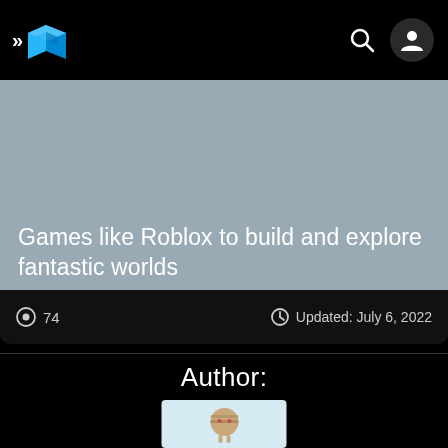>> [logo] [search icon] [user icon]
[Figure (photo): Hero image area with muted blue-gray background, containing article title text overlay at bottom]
Games like Roblox to build and explore fantastic worlds
74  Updated: July 6, 2022
Author:
[Figure (photo): Small robot or toy figure on a light blue background, resembling a round wooden ball-shaped character with small limbs]